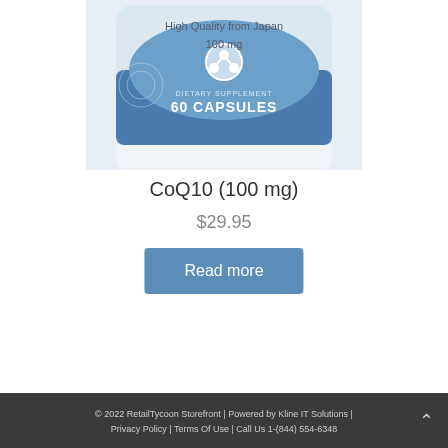[Figure (photo): Product photo of a CoQ10 supplement bottle showing 'High Quality from Japan 100 mg' and '60 CAPSULES' label with blue and white design]
CoQ10 (100 mg)
$29.95
Read more
© 2022 RetailTycoon Storefront | Powered by Kline IT Solutions | Privacy Policy | Terms Of Use | Call Us 1-(844) 554-6348